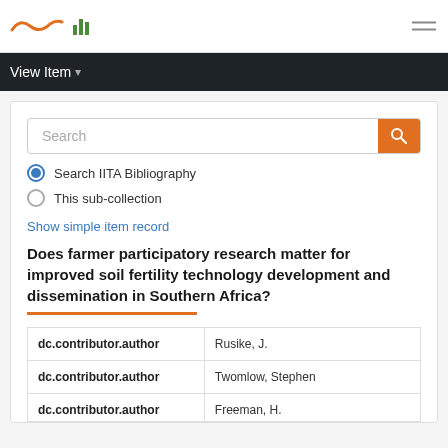View Item
Search
Search IITA Bibliography
This sub-collection
Show simple item record
Does farmer participatory research matter for improved soil fertility technology development and dissemination in Southern Africa?
| dc.contributor.author |  |
| --- | --- |
| dc.contributor.author | Rusike, J. |
| dc.contributor.author | Twomlow, Stephen |
| dc.contributor.author | Freeman, H. |